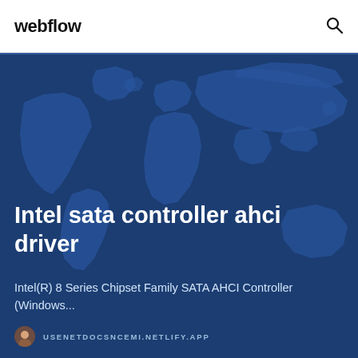webflow
[Figure (illustration): World map silhouette in dark blue tones used as hero background]
Intel sata controller ahci driver
Intel(R) 8 Series Chipset Family SATA AHCI Controller (Windows...
USENETDOCSNCEMI.NETLIFY.APP